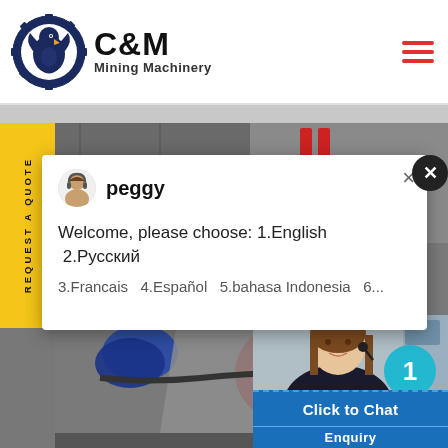[Figure (logo): C&M Mining Machinery logo with eagle gear emblem in dark navy blue, company name in bold black text]
[Figure (screenshot): Website screenshot showing C&M Mining Machinery page with a chat popup from agent 'peggy' saying 'Welcome, please choose: 1.English 2.Русский 3.Francais 4.Español 5.bahasa Indonesia 6...' overlaid on mining machinery imagery. Yellow REQUEST A QUOTE sidebar button visible. Customer service rep photo with 'Click to Chat' and 'Enquiry' buttons bottom right.]